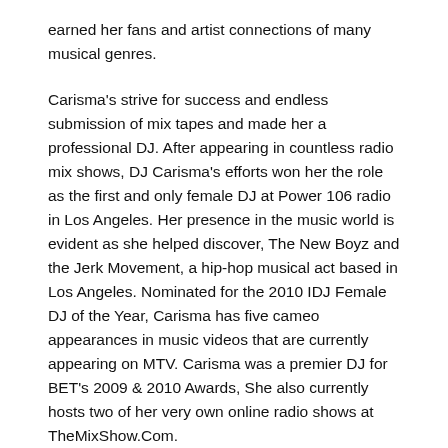earned her fans and artist connections of many musical genres.
Carisma's strive for success and endless submission of mix tapes and made her a professional DJ. After appearing in countless radio mix shows, DJ Carisma's efforts won her the role as the first and only female DJ at Power 106 radio in Los Angeles. Her presence in the music world is evident as she helped discover, The New Boyz and the Jerk Movement, a hip-hop musical act based in Los Angeles. Nominated for the 2010 IDJ Female DJ of the Year, Carisma has five cameo appearances in music videos that are currently appearing on MTV. Carisma was a premier DJ for BET's 2009 & 2010 Awards, She also currently hosts two of her very own online radio shows at TheMixShow.Com.